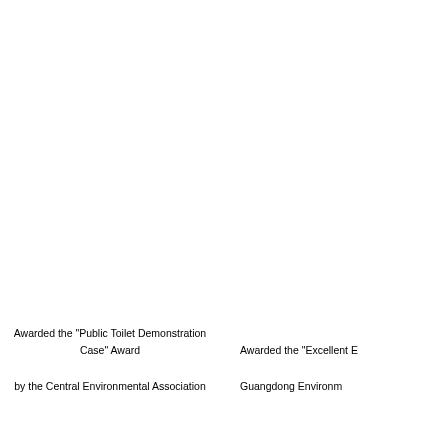Awarded the "Public Toilet Demonstration Case" Award by the Central Environmental Association
Awarded the "Excellent E... Guangdong Environm...